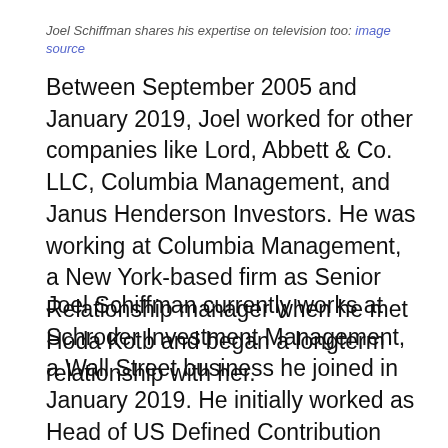Joel Schiffman shares his expertise on television too: image source
Between September 2005 and January 2019, Joel worked for other companies like Lord, Abbett & Co. LLC, Columbia Management, and Janus Henderson Investors. He was working at Columbia Management, a New York-based firm as Senior Relationship manager when he met Hoda Kotb and began a longterm relationship with her.
Joel Schiffman currently works at Schroder Investment Management, a Wall Street business he joined in January 2019. He initially worked as Head of US Defined Contribution and Insurance Sales before he became Head of Intermediary